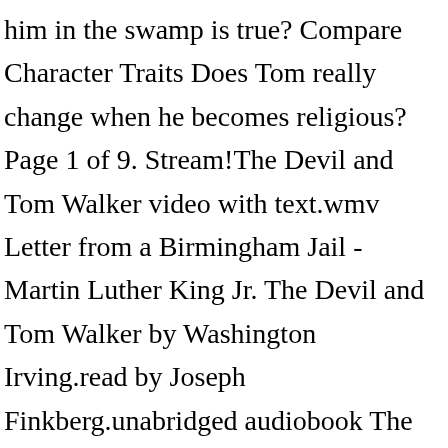him in the swamp is true? Compare Character Traits Does Tom really change when he becomes religious? Page 1 of 9. Stream!The Devil and Tom Walker video with text.wmv Letter from a Birmingham Jail - Martin Luther King Jr. The Devil and Tom Walker by Washington Irving.read by Joseph Finkberg.unabridged audiobook The Devil and Tom Walker by Washington Irving.read by Joseph Finkberg.unabridged audiobook by PublicAudioLibrary 7 years ago Mcdougal PDF Books this is the book you are looking for, from